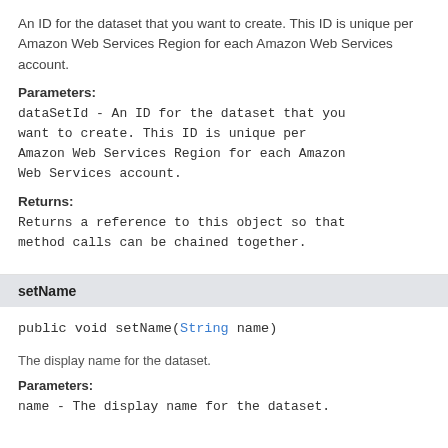An ID for the dataset that you want to create. This ID is unique per Amazon Web Services Region for each Amazon Web Services account.
Parameters:
dataSetId - An ID for the dataset that you want to create. This ID is unique per Amazon Web Services Region for each Amazon Web Services account.
Returns:
Returns a reference to this object so that method calls can be chained together.
setName
public void setName(String name)
The display name for the dataset.
Parameters:
name - The display name for the dataset.